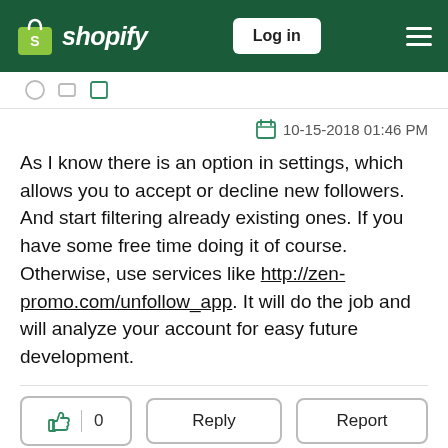Shopify — Log in
10-15-2018 01:46 PM
As I know there is an option in settings, which allows you to accept or decline new followers. And start filtering already existing ones. If you have some free time doing it of course. Otherwise, use services like http://zen-promo.com/unfollow_app. It will do the job and will analyze your account for easy future development.